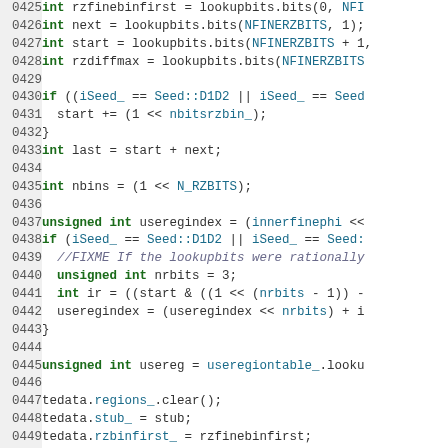[Figure (screenshot): Source code listing in C++ with line numbers 0425-0454, showing code with keywords in green, identifiers in blue, and comments in italic blue-grey.]